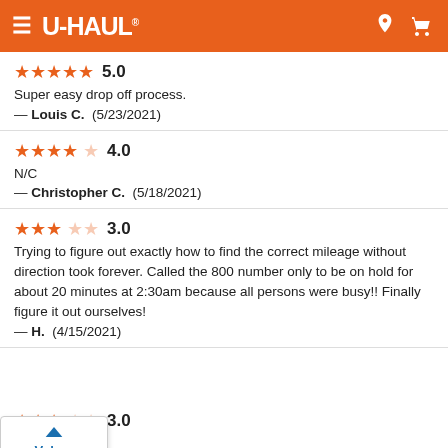U-HAUL
★★★★★ 5.0
Super easy drop off process.
— Louis C. (5/23/2021)
★★★★☆ 4.0
N/C
— Christopher C. (5/18/2021)
★★★☆☆ 3.0
Trying to figure out exactly how to find the correct mileage without direction took forever. Called the 800 number only to be on hold for about 20 minutes at 2:30am because all persons were busy!! Finally figure it out ourselves!
— H. (4/15/2021)
Volver arriba
★★★☆☆ 3.0